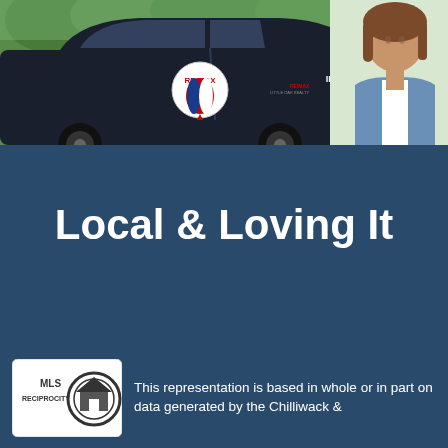[Figure (photo): RE/MAX branded dark car with contact info (IreneKluska.com, 604-302-7808, irene@irenekluska.com) and a woman in a blue blazer smiling, standing outdoors with green trees in the background]
Local & Loving It
[Figure (logo): MLS RECIPROCITY logo with a house icon and circular border]
This representation is based in whole or in part on data generated by the Chilliwack &